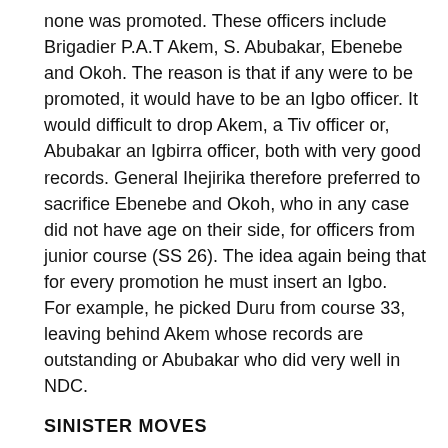none was promoted. These officers include Brigadier P.A.T Akem, S. Abubakar, Ebenebe and Okoh. The reason is that if any were to be promoted, it would have to be an Igbo officer. It would difficult to drop Akem, a Tiv officer or, Abubakar an Igbirra officer, both with very good records. General Ihejirika therefore preferred to sacrifice Ebenebe and Okoh, who in any case did not have age on their side, for officers from junior course (SS 26). The idea again being that for every promotion he must insert an Igbo.
For example, he picked Duru from course 33, leaving behind Akem whose records are outstanding or Abubakar who did very well in NDC.
SINISTER MOVES
Gen Ihejirika's entrenchment of mediocrity and nepotism in the Nigerian army becomes clearer when we consider the